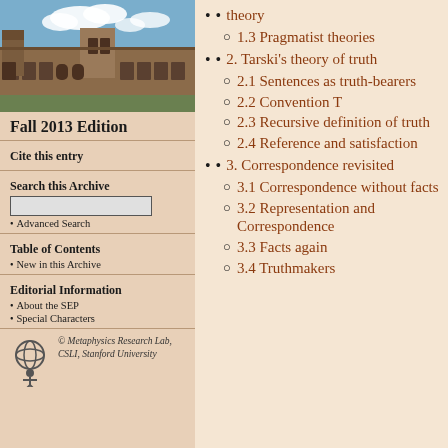[Figure (photo): Photograph of a stone university building with a courtyard, blue sky with clouds.]
Fall 2013 Edition
Cite this entry
Search this Archive
Advanced Search
Table of Contents
New in this Archive
Editorial Information
About the SEP
Special Characters
© Metaphysics Research Lab, CSLI, Stanford University
theory
1.3 Pragmatist theories
2. Tarski's theory of truth
2.1 Sentences as truth-bearers
2.2 Convention T
2.3 Recursive definition of truth
2.4 Reference and satisfaction
3. Correspondence revisited
3.1 Correspondence without facts
3.2 Representation and Correspondence
3.3 Facts again
3.4 Truthmakers